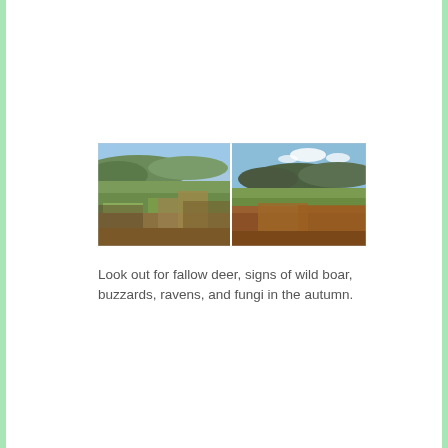[Figure (photo): Two side-by-side landscape photographs showing hilly countryside views with green fields, forests, and autumn bracken in the foreground, under a blue sky.]
Look out for fallow deer, signs of wild boar, buzzards, ravens, and fungi in the autumn.